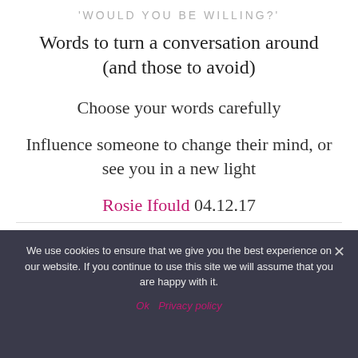'WOULD YOU BE WILLING?'
Words to turn a conversation around (and those to avoid)
Choose your words carefully
Influence someone to change their mind, or see you in a new light
Rosie Ifould 04.12.17
'Would you be willing?' – article
We use cookies to ensure that we give you the best experience on our website. If you continue to use this site we will assume that you are happy with it. Ok Privacy policy